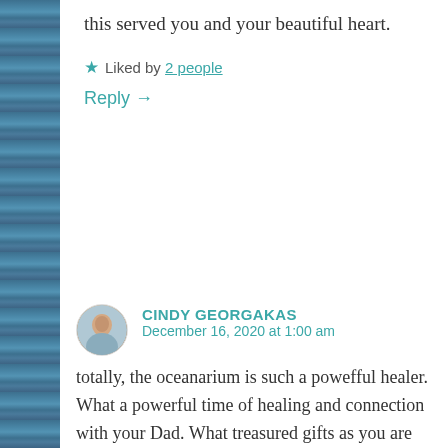this served you and your beautiful heart.
★ Liked by 2 people
Reply →
CINDY GEORGAKAS
December 16, 2020 at 1:00 am
totally, the oceanarium is such a powefful healer. What a powerful time of healing and connection with your Dad. What treasured gifts as you are surrendering on so many levels. My heart holds yours while you continue fo move through the other side. love always ❤